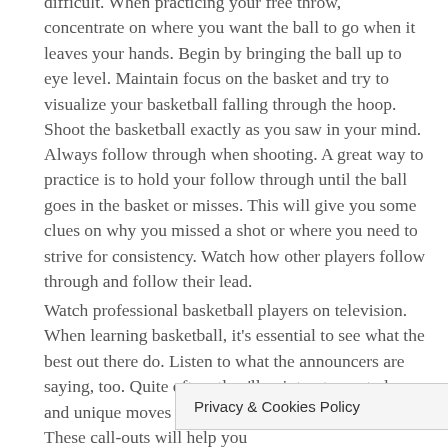difficult. When practicing your free throw, concentrate on where you want the ball to go when it leaves your hands. Begin by bringing the ball up to eye level. Maintain focus on the basket and try to visualize your basketball falling through the hoop. Shoot the basketball exactly as you saw in your mind.
Always follow through when shooting. A great way to practice is to hold your follow through until the ball goes in the basket or misses. This will give you some clues on why you missed a shot or where you need to strive for consistency. Watch how other players follow through and follow their lead.
Watch professional basketball players on television. When learning basketball, it's essential to see what the best out there do. Listen to what the announcers are saying, too. Quite often, they'll point out smart plays and unique moves that were exceptionally done. These call-outs will help you...
Privacy & Cookies Policy